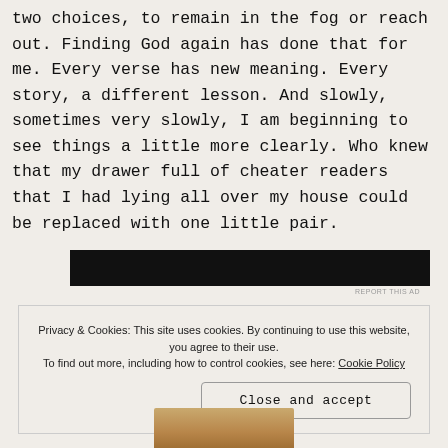two choices, to remain in the fog or reach out. Finding God again has done that for me. Every verse has new meaning. Every story, a different lesson. And slowly, sometimes very slowly, I am beginning to see things a little more clearly. Who knew that my drawer full of cheater readers that I had lying all over my house could be replaced with one little pair.
[Figure (other): Black advertisement banner]
REPORT THIS AD
Privacy & Cookies: This site uses cookies. By continuing to use this website, you agree to their use.
To find out more, including how to control cookies, see here: Cookie Policy
Close and accept
[Figure (photo): Partial photo visible at bottom of page]